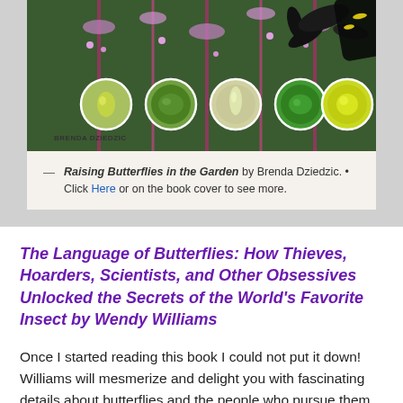[Figure (photo): Book cover of 'Raising Butterflies in the Garden' by Brenda Dziedzic, showing a dark wasp or butterfly on pink flowers with five circular inset images of butterfly eggs at various stages.]
— Raising Butterflies in the Garden by Brenda Dziedzic. • Click Here or on the book cover to see more.
The Language of Butterflies: How Thieves, Hoarders, Scientists, and Other Obsessives Unlocked the Secrets of the World's Favorite Insect by Wendy Williams
Once I started reading this book I could not put it down!  Williams will mesmerize and delight you with fascinating details about butterflies and the people who pursue them.